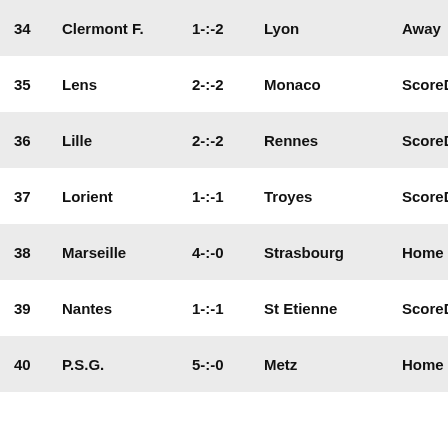| # | Home Team | Score | Away Team | Result |
| --- | --- | --- | --- | --- |
| 34 | Clermont F. | 1-:-2 | Lyon | Away |
| 35 | Lens | 2-:-2 | Monaco | ScoreDraw |
| 36 | Lille | 2-:-2 | Rennes | ScoreDraw |
| 37 | Lorient | 1-:-1 | Troyes | ScoreDraw |
| 38 | Marseille | 4-:-0 | Strasbourg | Home |
| 39 | Nantes | 1-:-1 | St Etienne | ScoreDraw |
| 40 | P.S.G. | 5-:-0 | Metz | Home |